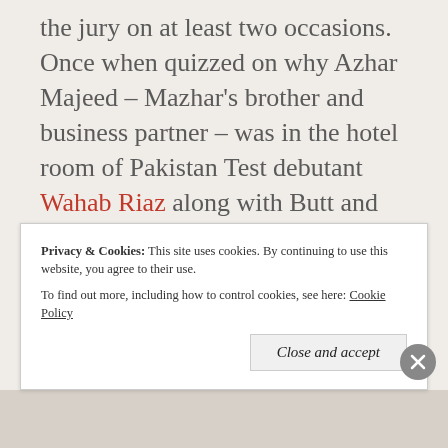the jury on at least two occasions. Once when quizzed on why Azhar Majeed – Mazhar's brother and business partner – was in the hotel room of Pakistan Test debutant Wahab Riaz along with Butt and wicketkeeper Kamram Akmal after midnight during The Oval Test, Butt doubted the written evidence read out to the court from Pakistan team security manager Major
Privacy & Cookies: This site uses cookies. By continuing to use this website, you agree to their use. To find out more, including how to control cookies, see here: Cookie Policy
Close and accept